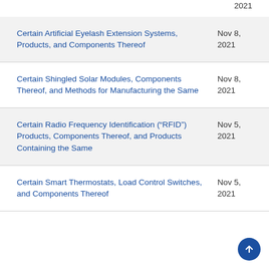2021
Certain Artificial Eyelash Extension Systems, Products, and Components Thereof	Nov 8, 2021
Certain Shingled Solar Modules, Components Thereof, and Methods for Manufacturing the Same	Nov 8, 2021
Certain Radio Frequency Identification (“RFID”) Products, Components Thereof, and Products Containing the Same	Nov 5, 2021
Certain Smart Thermostats, Load Control Switches, and Components Thereof	Nov 5, 2021